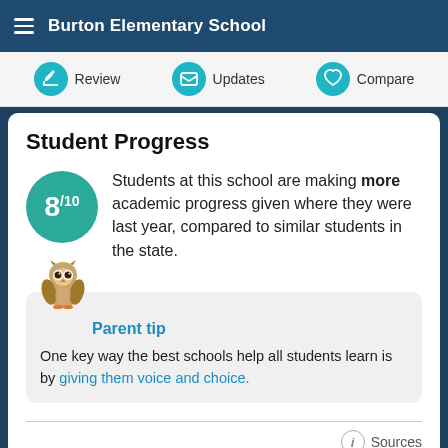Burton Elementary School
Review | Updates | Compare
Student Progress
Students at this school are making more academic progress given where they were last year, compared to similar students in the state.
Parent tip
One key way the best schools help all students learn is by giving them voice and choice.
Sources